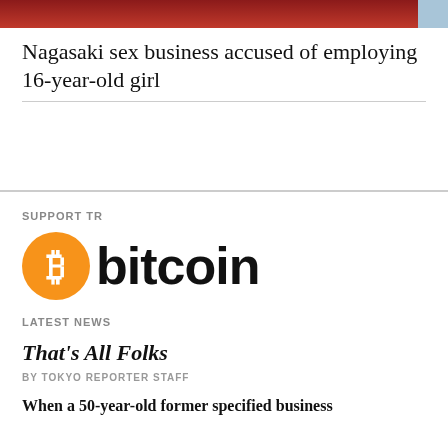[Figure (photo): Partial image strip showing red/dark background with blue corner element at top of page]
Nagasaki sex business accused of employing 16-year-old girl
[Figure (logo): Bitcoin logo: orange circle with white Bitcoin symbol followed by bold black text 'bitcoin']
SUPPORT TR
LATEST NEWS
That's All Folks
BY TOKYO REPORTER STAFF
When a 50-year-old former specified business...